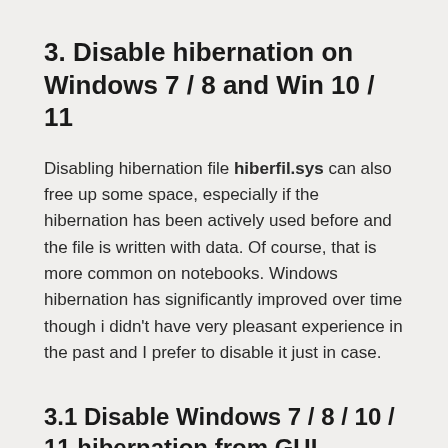3. Disable hibernation on Windows 7 / 8 and Win 10 / 11
Disabling hibernation file hiberfil.sys can also free up some space, especially if the hibernation has been actively used before and the file is written with data. Of course, that is more common on notebooks. Windows hibernation has significantly improved over time though i didn't have very pleasant experience in the past and I prefer to disable it just in case.
3.1 Disable Windows 7 / 8 / 10 / 11 hibernation from GUI
Disable it through: